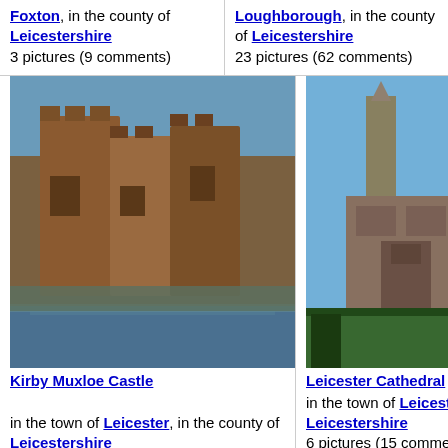Foxton, in the county of Leicestershire
3 pictures (9 comments)
Loughborough, in the county of Leicestershire
23 pictures (62 comments)
[Figure (photo): Kirby Muxloe Castle - medieval castle ruins reflected in water]
Kirby Muxloe Castle
in the town of Leicester, in the county of Leicestershire
3 pictures (7 comments)
[Figure (photo): Leicester Cathedral - tall church spire against blue sky]
Leicester Cathedral
in the town of Leicester, in the county of Leicestershire
6 pictures (15 comments)
[Figure (photo): Cathedral interior with gothic vaulted ceiling and organ]
[Figure (photo): Mountain landscape with lake and trees in foreground]